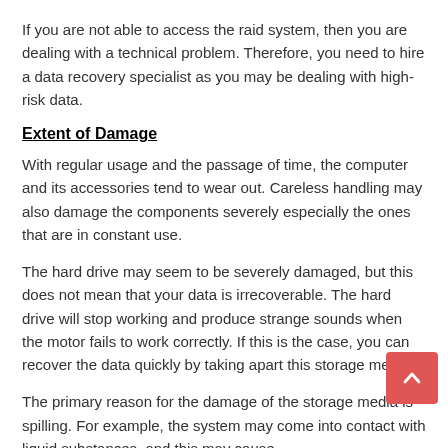If you are not able to access the raid system, then you are dealing with a technical problem. Therefore, you need to hire a data recovery specialist as you may be dealing with high-risk data.
Extent of Damage
With regular usage and the passage of time, the computer and its accessories tend to wear out. Careless handling may also damage the components severely especially the ones that are in constant use.
The hard drive may seem to be severely damaged, but this does not mean that your data is irrecoverable. The hard drive will stop working and produce strange sounds when the motor fails to work correctly. If this is the case, you can recover the data quickly by taking apart this storage media.
The primary reason for the damage of the storage media is spilling. For example, the system may come into contact with liquid substances, and this may cause